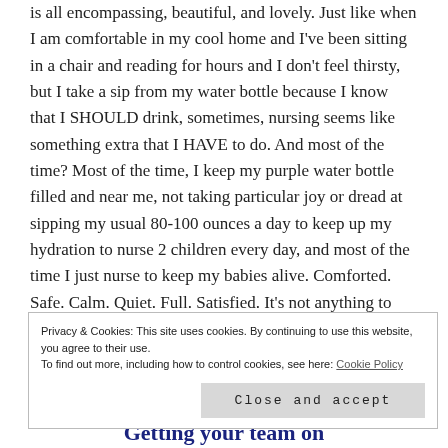is all encompassing, beautiful, and lovely. Just like when I am comfortable in my cool home and I've been sitting in a chair and reading for hours and I don't feel thirsty, but I take a sip from my water bottle because I know that I SHOULD drink, sometimes, nursing seems like something extra that I HAVE to do. And most of the time? Most of the time, I keep my purple water bottle filled and near me, not taking particular joy or dread at sipping my usual 80-100 ounces a day to keep up my hydration to nurse 2 children every day, and most of the time I just nurse to keep my babies alive. Comforted. Safe. Calm. Quiet. Full. Satisfied. It's not anything to look forward to or run away from. Not something I celebrate or downplay. Nursing is just water.
Privacy & Cookies: This site uses cookies. By continuing to use this website, you agree to their use. To find out more, including how to control cookies, see here: Cookie Policy
Close and accept
Getting your team on